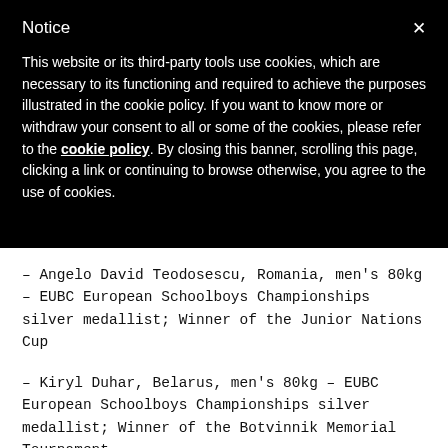Notice
This website or its third-party tools use cookies, which are necessary to its functioning and required to achieve the purposes illustrated in the cookie policy. If you want to know more or withdraw your consent to all or some of the cookies, please refer to the cookie policy. By closing this banner, scrolling this page, clicking a link or continuing to browse otherwise, you agree to the use of cookies.
– Angelo David Teodosescu, Romania, men's 80kg – EUBC European Schoolboys Championships silver medallist; Winner of the Junior Nations Cup
– Kiryl Duhar, Belarus, men's 80kg – EUBC European Schoolboys Championships silver medallist; Winner of the Botvinnik Memorial Tournament